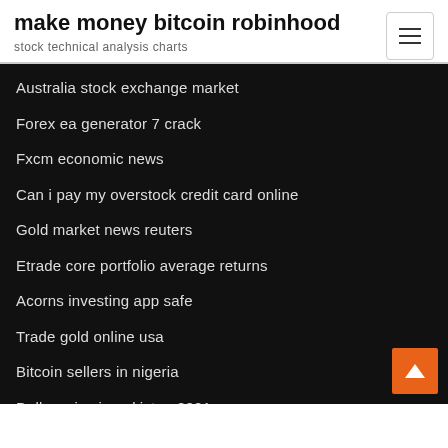make money bitcoin robinhood
stock technical analysis charts
Australia stock exchange market
Forex ea generator 7 crack
Fxcm economic news
Can i pay my overstock credit card online
Gold market news reuters
Etrade core portfolio average returns
Acorns investing app safe
Trade gold online usa
Bitcoin sellers in nigeria
Dollar price in pakistan 2001